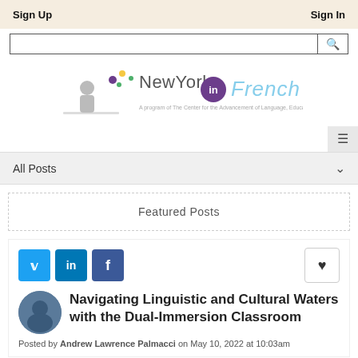Sign Up   Sign In
[Figure (logo): NewYork in French logo with silhouette figure blowing bubbles and colorful dots, tagline text below]
All Posts
Featured Posts
Navigating Linguistic and Cultural Waters with the Dual-Immersion Classroom
Posted by Andrew Lawrence Palmacci on May 10, 2022 at 10:03am